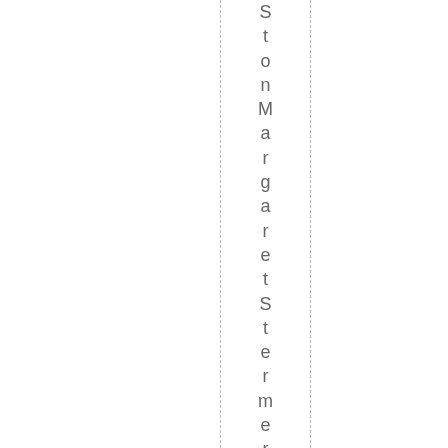StonMargaretStermer-Cox. Conti